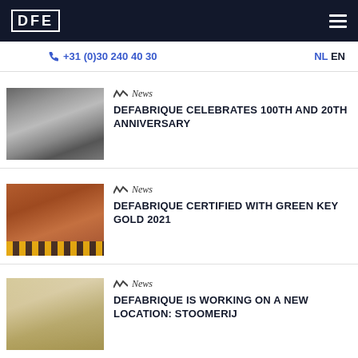DFE
+31 (0)30 240 40 30  NL EN
News — DEFABRIQUE CELEBRATES 100TH AND 20TH ANNIVERSARY
News — DEFABRIQUE CERTIFIED WITH GREEN KEY GOLD 2021
News — DEFABRIQUE IS WORKING ON A NEW LOCATION: STOOMERIJ